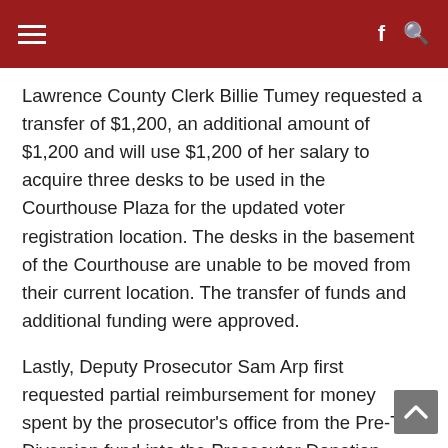≡  f 🔍
Lawrence County Clerk Billie Tumey requested a transfer of $1,200, an additional amount of $1,200 and will use $1,200 of her salary to acquire three desks to be used in the Courthouse Plaza for the updated voter registration location. The desks in the basement of the Courthouse are unable to be moved from their current location. The transfer of funds and additional funding were approved.
Lastly, Deputy Prosecutor Sam Arp first requested partial reimbursement for money spent by the prosecutor's office from the Pre-Trial Diversion fund into the Prosecutor Donation Fund of $910.89. Another request of $3,560.01 to be transferred to be used for Cellbrite lab equipment used in forensics for cellphones and computers and an additional $10,000